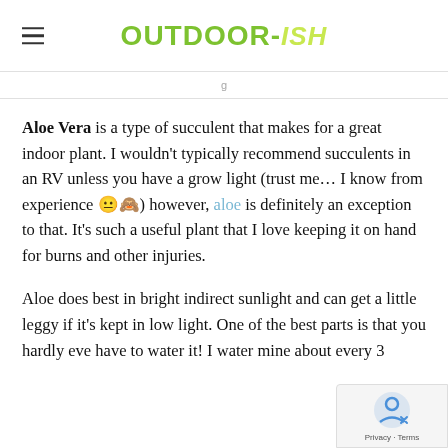OUTDOOR-ISH
Aloe Vera is a type of succulent that makes for a great indoor plant. I wouldn't typically recommend succulents in an RV unless you have a grow light (trust me… I know from experience 😐🙈) however, aloe is definitely an exception to that. It's such a useful plant that I love keeping it on hand for burns and other injuries.
Aloe does best in bright indirect sunlight and can get a little leggy if it's kept in low light. One of the best parts is that you hardly ever have to water it! I water mine about every 3